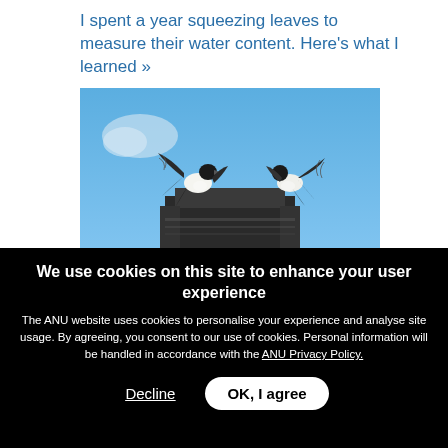I spent a year squeezing leaves to measure their water content. Here's what I learned »
[Figure (photo): Two black and white birds (magpies) perched on a dark structure against a blue sky background]
We use cookies on this site to enhance your user experience
The ANU website uses cookies to personalise your experience and analyse site usage. By agreeing, you consent to our use of cookies. Personal information will be handled in accordance with the ANU Privacy Policy.
Decline   OK, I agree